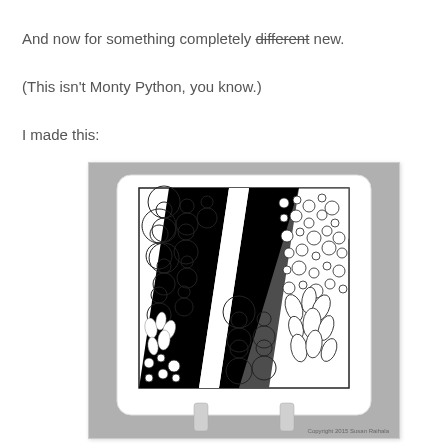And now for something completely different new.
(This isn't Monty Python, you know.)
I made this:
[Figure (photo): A white ceramic tile on a stand displaying intricate zentangle/doodle art in black and white, featuring spirals, leaves, dots, and swirling patterns. Copyright 2015 Susan Raihala.]